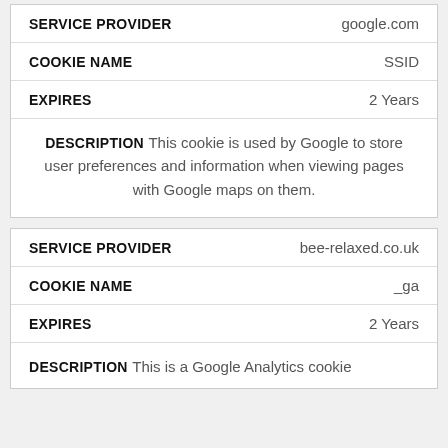| Field | Value |
| --- | --- |
| SERVICE PROVIDER | google.com |
| COOKIE NAME | SSID |
| EXPIRES | 2 Years |
| DESCRIPTION | This cookie is used by Google to store user preferences and information when viewing pages with Google maps on them. |
| Field | Value |
| --- | --- |
| SERVICE PROVIDER | bee-relaxed.co.uk |
| COOKIE NAME | _ga |
| EXPIRES | 2 Years |
| DESCRIPTION | This is a Google Analytics cookie |